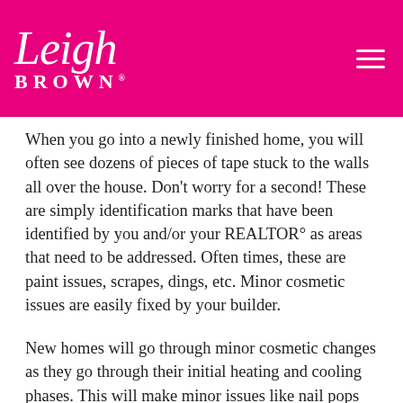[Figure (logo): Leigh Brown logo in white script on pink/magenta header bar with hamburger menu icon on the right]
When you go into a newly finished home, you will often see dozens of pieces of tape stuck to the walls all over the house. Don't worry for a second! These are simply identification marks that have been identified by you and/or your REALTOR° as areas that need to be addressed. Often times, these are paint issues, scrapes, dings, etc. Minor cosmetic issues are easily fixed by your builder.
New homes will go through minor cosmetic changes as they go through their initial heating and cooling phases. This will make minor issues like nail pops and paint peel rear their ugly heads. In North Carolina, your builder has to honor a one-year walkthrough of your new home. As this initial year progresses, you should keep a running list of issues that you discover. If done properly, this will allow your builder to address the issues efficiently at the one-